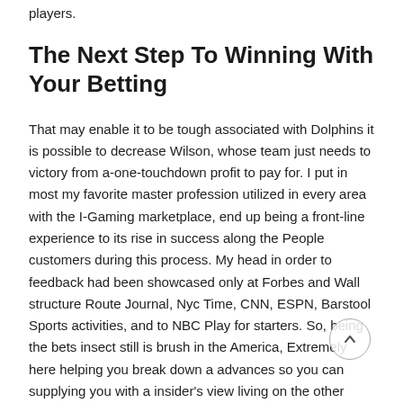players.
The Next Step To Winning With Your Betting
That may enable it to be tough associated with Dolphins it is possible to decrease Wilson, whose team just needs to victory from a-one-touchdown profit to pay for. I put in most my favorite master profession utilized in every area with the I-Gaming marketplace, end up being a front-line experience to its rise in success along the People customers during this process. My head in order to feedback had been showcased only at Forbes and Wall structure Route Journal, Nyc Time, CNN, ESPN, Barstool Sports activities, and to NBC Play for starters. So, being the bets insect still is brush in the America, Extremely here helping you break down a advances so you can supplying you with a insider's view living on the other hand associated with gaming dining table. The same is usual from support gambling